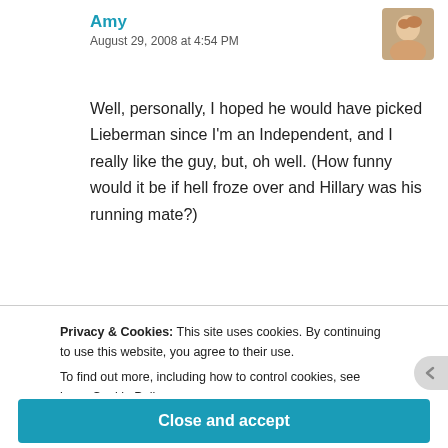Amy
August 29, 2008 at 4:54 PM
Well, personally, I hoped he would have picked Lieberman since I'm an Independent, and I really like the guy, but, oh well. (How funny would it be if hell froze over and Hillary was his running mate?)
Heidi, haha! It does sound like a sled dog team, especially “Track and Trig”–what? It sort of makes me reconsider her sound judgment in matters.
Privacy & Cookies: This site uses cookies. By continuing to use this website, you agree to their use.
To find out more, including how to control cookies, see here: Cookie Policy
Close and accept